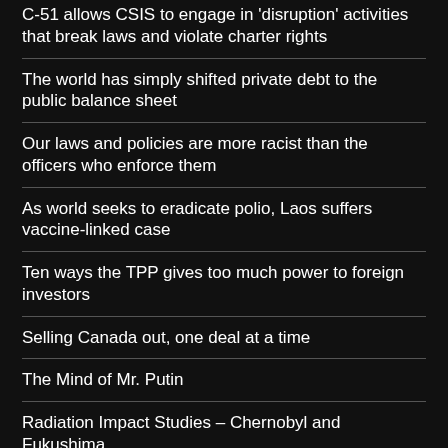C-51 allows CSIS to engage in 'disruption' activities that break laws and violate charter rights
The world has simply shifted private debt to the public balance sheet
Our laws and policies are more racist than the officers who enforce them
As world seeks to eradicate polio, Laos suffers vaccine-linked case
Ten ways the TPP gives too much power to foreign investors
Selling Canada out, one deal at a time
The Mind of Mr. Putin
Radiation Impact Studies – Chernobyl and Fukushima
Report says 70 to 100 percent of nuclear fuel in Fukushima No. 2 has melted
New Snowden Leak Confirms UK Spies Track Web Users' Online Identities
Fukushima Report Dangerously Downplays Ongoing Health Risks